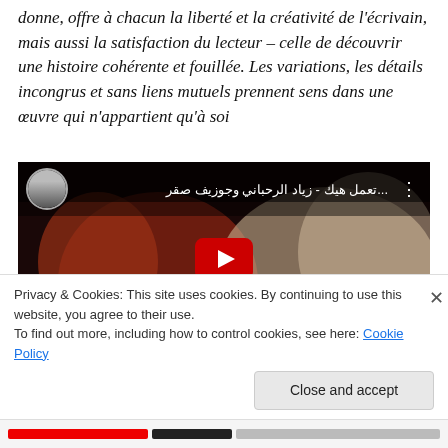donne, offre à chacun la liberté et la créativité de l'écrivain, mais aussi la satisfaction du lecteur – celle de découvrir une histoire cohérente et fouillée. Les variations, les détails incongrus et sans liens mutuels prennent sens dans une œuvre qui n'appartient qu'à soi
[Figure (screenshot): YouTube video thumbnail showing two men laughing together in what appears to be a recording studio. The video title in Arabic reads: ...تعمل هيك - زياد الرحباني وجوزيف صقر. A YouTube play button is overlaid in the center. There is a small circular avatar of a man in a suit in the top left corner.]
Privacy & Cookies: This site uses cookies. By continuing to use this website, you agree to their use.
To find out more, including how to control cookies, see here: Cookie Policy
Close and accept